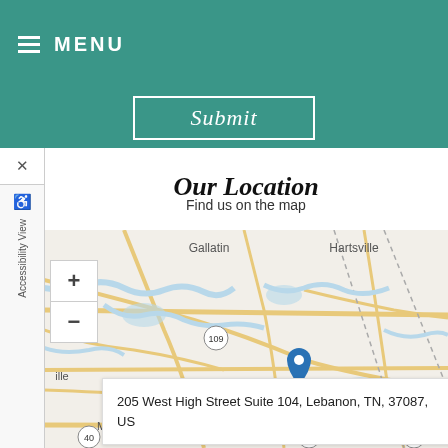MENU
Submit
Our Location
Find us on the map
[Figure (map): Interactive map showing Lebanon, TN area with a blue location pin on Lebanon. Map shows surrounding towns including Gallatin, Hartsville, Mt. Juliet. Roads including highway 109 and highway 40 visible. Zoom controls (+/-) on left side.]
205 West High Street Suite 104, Lebanon, TN, 37087, US